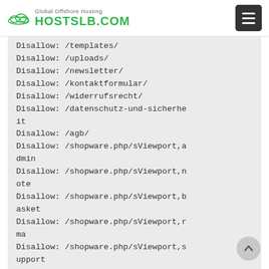Global Offshore Hosting HOSTSLB.COM
Disallow: /templates/
Disallow: /uploads/
Disallow: /newsletter/
Disallow: /kontaktformular/
Disallow: /widerrufsrecht/
Disallow: /datenschutz-und-sicherheit
Disallow: /agb/
Disallow: /shopware.php/sViewport,admin
Disallow: /shopware.php/sViewport,note
Disallow: /shopware.php/sViewport,basket
Disallow: /shopware.php/sViewport,rma
Disallow: /shopware.php/sViewport,support
Disallow: /shopware.php/sViewport,t